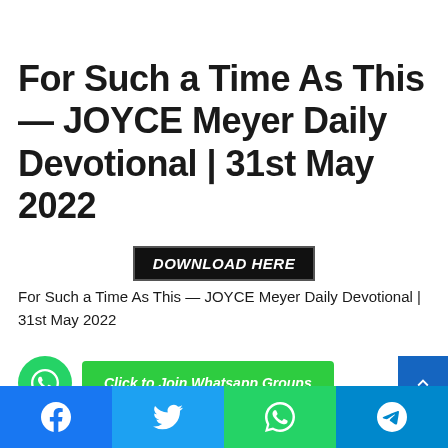For Such a Time As This  — JOYCE Meyer Daily Devotional | 31st May 2022
[Figure (other): DOWNLOAD HERE button — black background with white bold italic text]
For Such a Time As This  — JOYCE Meyer Daily Devotional | 31st May 2022
[Figure (other): WhatsApp circle icon button (green) and 'Click to Join Whatsapp Groups' green button, plus blue arrow button on right]
[Figure (other): Bottom social sharing bar with Facebook, Twitter, WhatsApp, and Telegram icons]